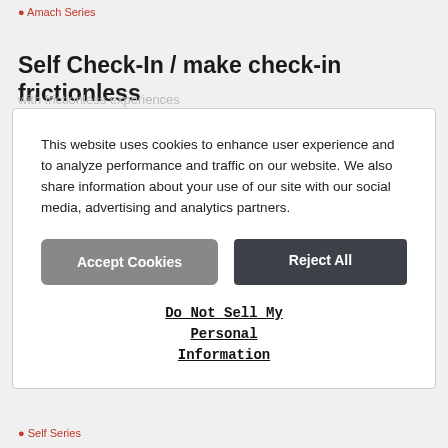Amach Series
Self Check-In / make check-in frictionless
This website uses cookies to enhance user experience and to analyze performance and traffic on our website. We also share information about your use of our site with our social media, advertising and analytics partners.
Accept Cookies
Reject All
Do Not Sell My Personal Information
Self Series